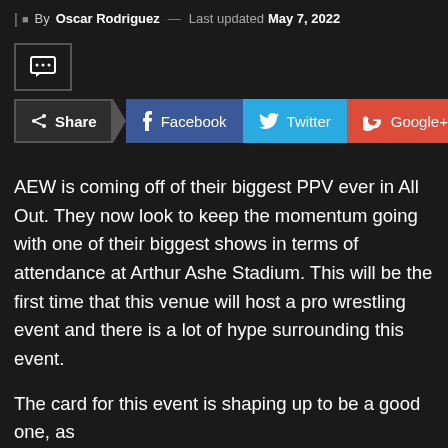By Oscar Rodriguez — Last updated May 7, 2022
[Figure (other): Comment icon button in a bordered box]
Share  Facebook  Twitter  Google+
AEW is coming off of their biggest PPV ever in All Out. They now look to keep the momentum going with one of their biggest shows in terms of attendance at Arthur Ashe Stadium. This will be the first time that this venue will host a pro wrestling event and there is a lot of hype surrounding this event.
The card for this event is shaping up to be a good one, as